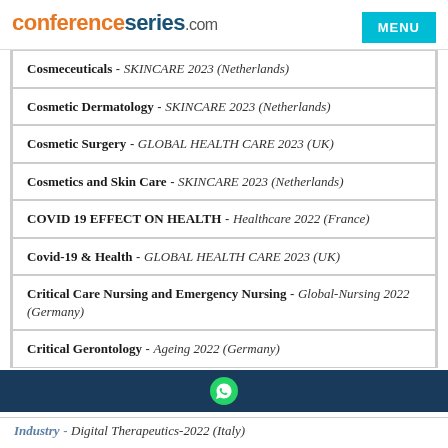conferenceseries.com | MENU
Cosmeceuticals - SKINCARE 2023 (Netherlands)
Cosmetic Dermatology - SKINCARE 2023 (Netherlands)
Cosmetic Surgery - GLOBAL HEALTH CARE 2023 (UK)
Cosmetics and Skin Care - SKINCARE 2023 (Netherlands)
COVID 19 EFFECT ON HEALTH - Healthcare 2022 (France)
Covid-19 & Health - GLOBAL HEALTH CARE 2023 (UK)
Critical Care Nursing and Emergency Nursing - Global-Nursing 2022 (Germany)
Critical Gerontology - Ageing 2022 (Germany)
Industry - Digital Therapeutics-2022 (Italy)